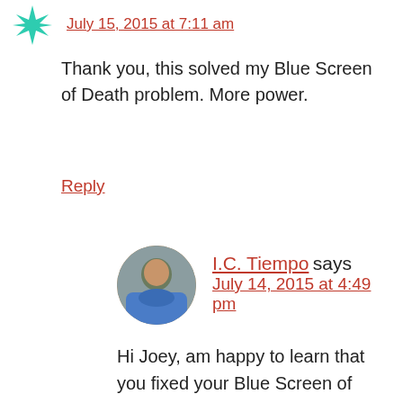[Figure (illustration): Teal snowflake/star shaped avatar icon at top left]
July 15, 2015 at 7:11 am
Thank you, this solved my Blue Screen of Death problem. More power.
Reply
[Figure (photo): Circular profile photo of I.C. Tiempo, a man in a blue shirt]
I.C. Tiempo says
July 14, 2015 at 4:49 pm
Hi Joey, am happy to learn that you fixed your Blue Screen of Death problem by following this